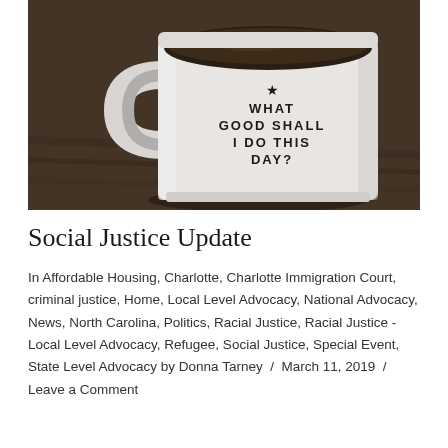[Figure (photo): A white enamel mug filled with dark coffee sitting on a wooden table. The mug has a star symbol and text reading 'WHAT GOOD SHALL I DO THIS DAY?']
Social Justice Update
In Affordable Housing, Charlotte, Charlotte Immigration Court, criminal justice, Home, Local Level Advocacy, National Advocacy, News, North Carolina, Politics, Racial Justice, Racial Justice - Local Level Advocacy, Refugee, Social Justice, Special Event, State Level Advocacy by Donna Tarney / March 11, 2019 / Leave a Comment